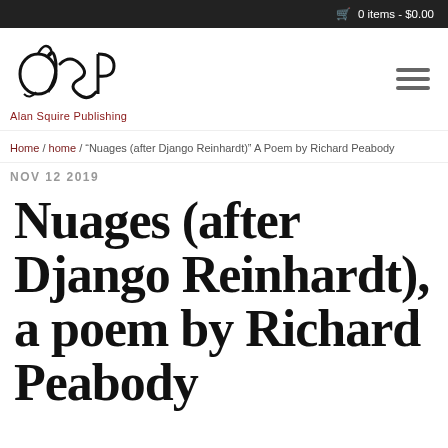0 items - $0.00
[Figure (logo): Alan Squire Publishing logo with stylized 'ASP' letters and red text below reading 'Alan Squire Publishing']
Home / home / “Nuages (after Django Reinhardt)” A Poem by Richard Peabody
NOV 12 2019
Nuages (after Django Reinhardt), a poem by Richard Peabody